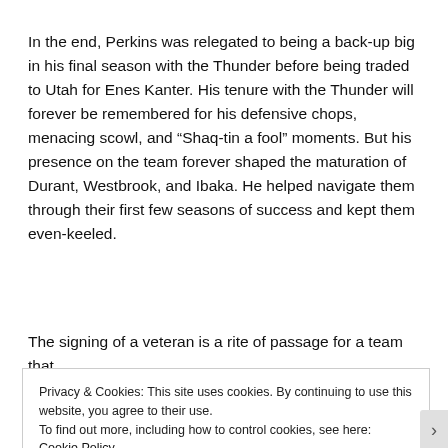In the end, Perkins was relegated to being a back-up big in his final season with the Thunder before being traded to Utah for Enes Kanter. His tenure with the Thunder will forever be remembered for his defensive chops, menacing scowl, and “Shaq-tin a fool” moments. But his presence on the team forever shaped the maturation of Durant, Westbrook, and Ibaka. He helped navigate them through their first few seasons of success and kept them even-keeled.
The signing of a veteran is a rite of passage for a team that
Privacy & Cookies: This site uses cookies. By continuing to use this website, you agree to their use.
To find out more, including how to control cookies, see here: Cookie Policy